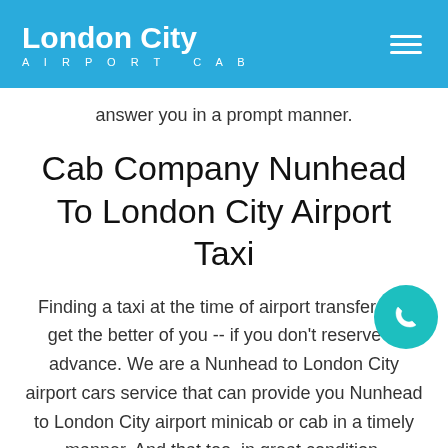London City AIRPORT CAB
answer you in a prompt manner.
Cab Company Nunhead To London City Airport Taxi
Finding a taxi at the time of airport transfer can get the better of you -- if you don't reserve in advance. We are a Nunhead to London City airport cars service that can provide you Nunhead to London City airport minicab or cab in a timely manner. And that too, in great condition.
We provide people the lowest fare cabs because we claim to be the cheapest fare service. However, cheap fares don't stop us from serving you in the best